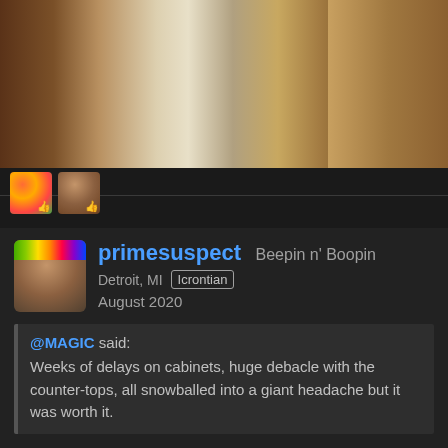[Figure (photo): Kitchen interior photo showing wood cabinets, white appliances, and tile floor with IRES watermark logo]
[Figure (photo): Two small user avatar thumbnails with like/reaction icons below the kitchen photo]
primesuspect Beepin n' Boopin
Detroit, MI [Icrontian]
August 2020
@MAGIC said:
Weeks of delays on cabinets, huge debacle with the counter-tops, all snowballed into a giant headache but it was worth it.
i have no idea what this is like what are you talking about
[Figure (photo): Five user reaction avatars with emoji reaction icons at bottom of post]